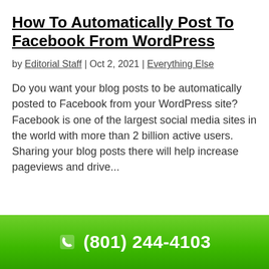How To Automatically Post To Facebook From WordPress
by Editorial Staff | Oct 2, 2021 | Everything Else
Do you want your blog posts to be automatically posted to Facebook from your WordPress site? Facebook is one of the largest social media sites in the world with more than 2 billion active users. Sharing your blog posts there will help increase pageviews and drive...
(801) 244-4103